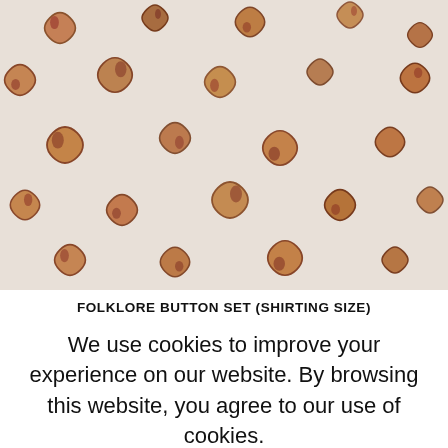[Figure (photo): Scattered flower-shaped amber/brown tortoiseshell glass or plastic buttons on a white background, photographed from above.]
FOLKLORE BUTTON SET (SHIRTING SIZE)
We use cookies to improve your experience on our website. By browsing this website, you agree to our use of cookies.
ACCEPT